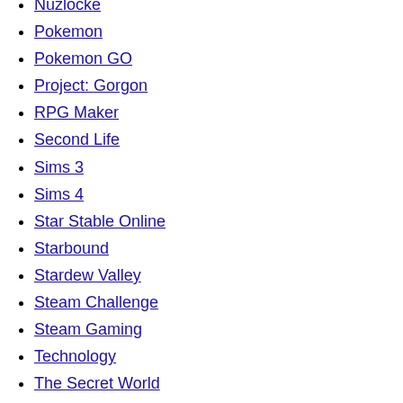Nuzlocke
Pokemon
Pokemon GO
Project: Gorgon
RPG Maker
Second Life
Sims 3
Sims 4
Star Stable Online
Starbound
Stardew Valley
Steam Challenge
Steam Gaming
Technology
The Secret World
Ukulele
Ultima Online
Uncategorized
Valheim
Videos
Virtual Pets
Webcomics
Wii U
WoW
Writing